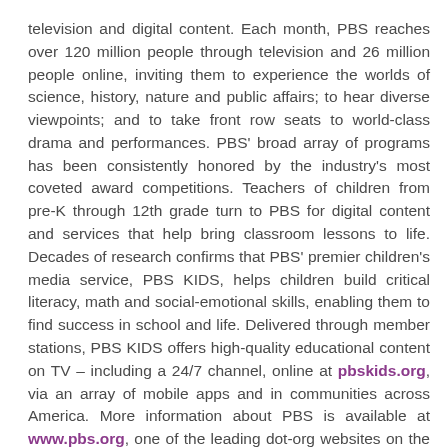television and digital content. Each month, PBS reaches over 120 million people through television and 26 million people online, inviting them to experience the worlds of science, history, nature and public affairs; to hear diverse viewpoints; and to take front row seats to world-class drama and performances. PBS' broad array of programs has been consistently honored by the industry's most coveted award competitions. Teachers of children from pre-K through 12th grade turn to PBS for digital content and services that help bring classroom lessons to life. Decades of research confirms that PBS' premier children's media service, PBS KIDS, helps children build critical literacy, math and social-emotional skills, enabling them to find success in school and life. Delivered through member stations, PBS KIDS offers high-quality educational content on TV – including a 24/7 channel, online at pbskids.org, via an array of mobile apps and in communities across America. More information about PBS is available at www.pbs.org, one of the leading dot-org websites on the internet, or by following PBS on Twitter, Facebook or through our apps for mobile and connected devices. Specific